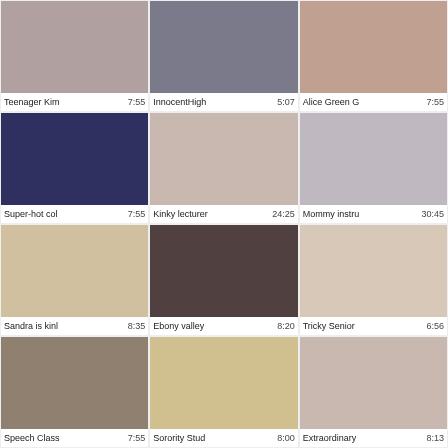[Figure (screenshot): Video thumbnail grid showing 12 adult video thumbnails with titles and durations]
Teenager Kim 7:55
InnocentHigh 5:07
Alice Green G 7:55
Super-hot col 7:55
Kinky lecturer 24:25
Mommy instru 30:45
Sandra is kinl 8:35
Ebony valley 8:20
Tricky Senior 6:56
Speech Class 7:55
Sorority Stud 8:00
Extraordinary 8:13